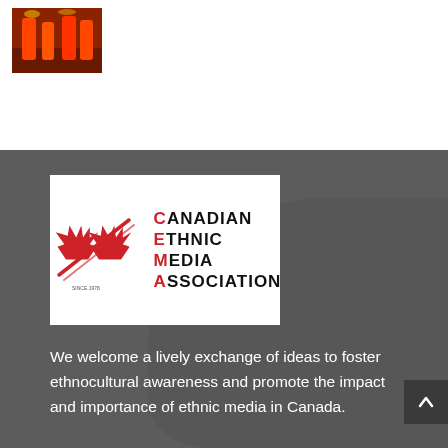[Figure (photo): Small thumbnail photo showing performers/dancers in orange/red costumes on a stage with warm lighting]
[Figure (logo): Canadian Ethnic Media Association (CEMA) logo: red maple leaf with pen/quill design on white background, text reads CANADIAN ETHNIC MEDIA ASSOCIATION]
We welcome a lively exchange of ideas to foster ethnocultural awareness and promote the impact and importance of ethnic media in Canada.
Links
Home